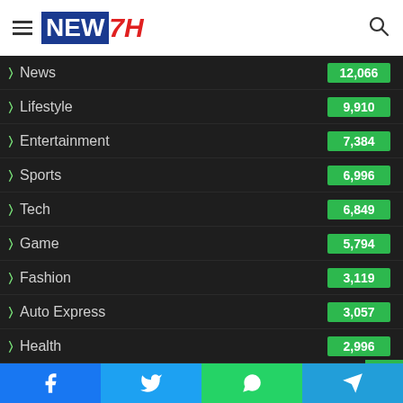NEW7H
News 12,066
Lifestyle 9,910
Entertainment 7,384
Sports 6,996
Tech 6,849
Game 5,794
Fashion 3,119
Auto Express 3,057
Health 2,996
Tags
Facebook Twitter WhatsApp Telegram